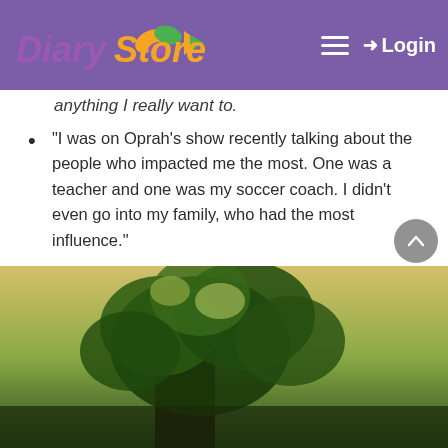Diary Store — Login
anything I really want to.
“I was on Oprah’s show recently talking about the people who impacted me the most. One was a teacher and one was my soccer coach. I didn't even go into my family, who had the most influence.”
Winning isn’t everything, but playing and competing and striving and going through things can be a lot of fun and really important. As long as you’re doing it in a way that’s healthy, sports can be an incredible opportunity.”
[Figure (photo): A large tree with green foliage photographed from below against a bright sky, partially visible at the bottom of the page.]